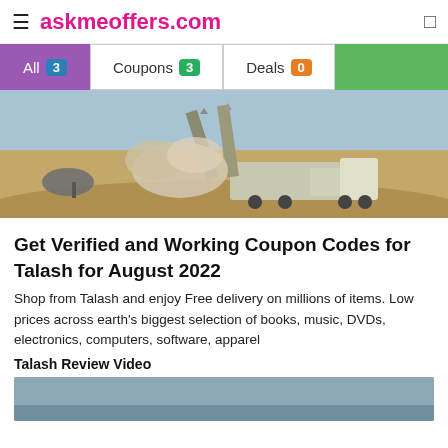≡ askmeoffers.com
All 3   Coupons 3   Deals 0
[Figure (photo): Military missile launcher vehicle firing missiles in a desert environment with smoke and radar equipment visible]
Get Verified and Working Coupon Codes for Talash for August 2022
Shop from Talash and enjoy Free delivery on millions of items. Low prices across earth's biggest selection of books, music, DVDs, electronics, computers, software, apparel
Talash Review Video
[Figure (screenshot): Partial thumbnail of a review video for Talash]